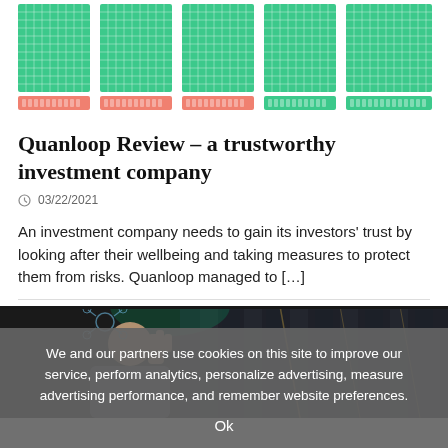[Figure (other): Top decorative grid/chart area with green grid blocks and orange/salmon horizontal bar segments arranged in 5 columns]
Quanloop Review – a trustworthy investment company
03/22/2021
An investment company needs to gain its investors' trust by looking after their wellbeing and taking measures to protect them from risks. Quanloop managed to […]
[Figure (photo): A man in a dark server room raising his hand, with server racks in the background and green overhead light]
We and our partners use cookies on this site to improve our service, perform analytics, personalize advertising, measure advertising performance, and remember website preferences.
Ok